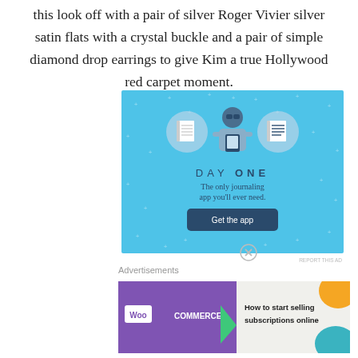this look off with a pair of silver Roger Vivier silver satin flats with a crystal buckle and a pair of simple diamond drop earrings to give Kim a true Hollywood red carpet moment.
Advertisements
[Figure (illustration): Day One journaling app advertisement on a light blue background. Shows icons of a notebook, a person holding a phone, and a list. Text reads: DAY ONE - The only journaling app you'll ever need. Button: Get the app.]
Advertisements
[Figure (illustration): WooCommerce advertisement. Purple left side with WooCommerce logo and a green arrow. White right side with text: How to start selling subscriptions online. Orange and teal decorative shapes.]